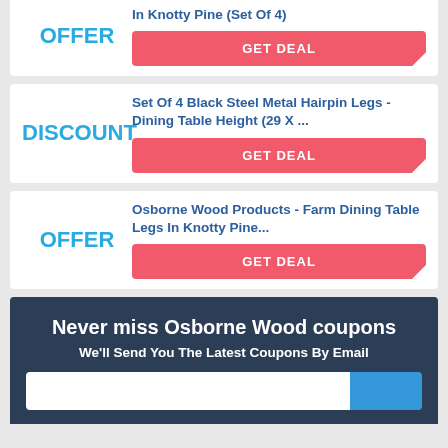OFFER — In Knotty Pine (Set Of 4) — GET DEAL
DISCOUNT — Set Of 4 Black Steel Metal Hairpin Legs - Dining Table Height (29 X ... — GET DEAL
OFFER — Osborne Wood Products - Farm Dining Table Legs In Knotty Pine... — GET DEAL
Never miss Osborne Wood coupons
We'll Send You The Latest Coupons By Email